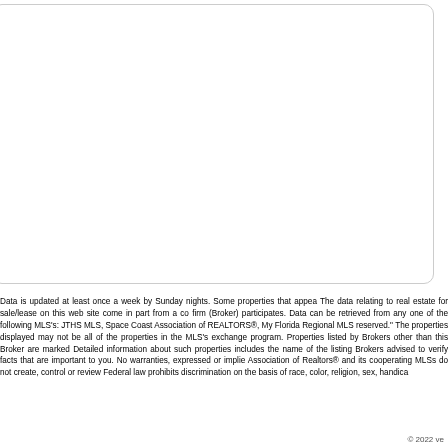[Figure (other): White rounded rectangle box, likely a map or property image placeholder]
Data is updated at least once a week by Sunday nights. Some properties that appea... The data relating to real estate for sale/lease on this web site come in part from a co... firm (Broker) participates. Data can be retrieved from any one of the following MLS's: JTHS MLS, Space Coast Association of REALTORS®, My Florida Regional MLS... reserved." The properties displayed may not be all of the properties in the MLS's... exchange program. Properties listed by Brokers other than this Broker are marked ... Detailed information about such properties includes the name of the listing Brokers... advised to verify facts that are important to you. No warranties, expressed or implie... Association of Realtors® and its cooperating MLSs do not create, control or review... Federal law prohibits discrimination on the basis of race, color, religion, sex, handica...
© 2022 ve...